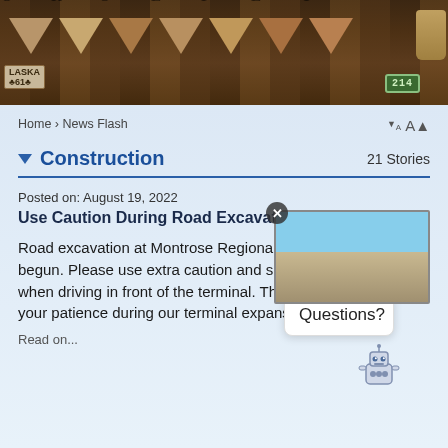[Figure (photo): Banner photo of decorative bunting flags spelling letters, with Alaska license plate tag and green license plate, wooden/barn interior background]
Home › News Flash
▼ Construction  21 Stories
Posted on: August 19, 2022
Use Caution During Road Excavation
Road excavation at Montrose Regional Airport has begun. Please use extra caution and slow down when driving in front of the terminal. Thank you for your patience during our terminal expansion!
Read on...